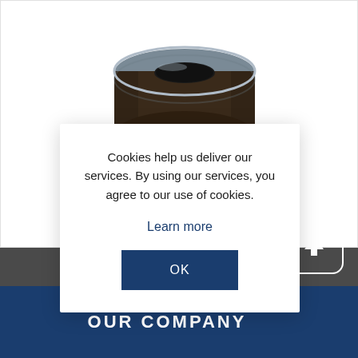[Figure (photo): 3D rendered image of a cylindrical mechanical component (bearing or collar), dark brown/black with gray metallic ring, viewed from a slight angle above.]
Cookies help us deliver our services. By using our services, you agree to our use of cookies.
Learn more
OK
OUR COMPANY